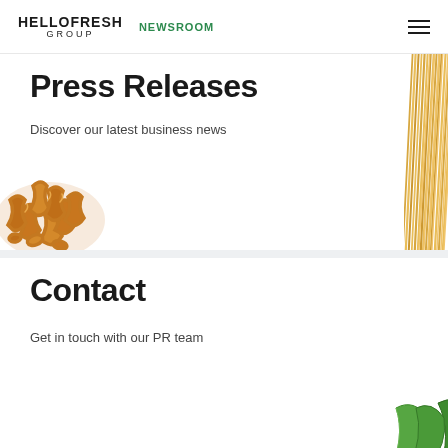HELLOFRESH GROUP NEWSROOM
Press Releases
Discover our latest business news
[Figure (photo): Rotini pasta pile, golden-orange colored, lower left of press releases section]
[Figure (photo): Spaghetti pasta strands, golden yellow, arranged vertically along the right edge]
Contact
Get in touch with our PR team
[Figure (photo): Fresh green basil leaves, two overlapping clusters, lower right of contact section]